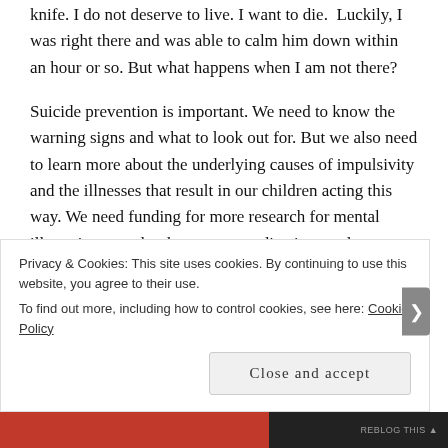knife. I do not deserve to live. I want to die. Luckily, I was right there and was able to calm him down within an hour or so. But what happens when I am not there?
Suicide prevention is important. We need to know the warning signs and what to look out for. But we also need to learn more about the underlying causes of impulsivity and the illnesses that result in our children acting this way. We need funding for more research for mental illness in general – the causes, medications and therapies.
For now, how do we prevent that from happening again?
Privacy & Cookies: This site uses cookies. By continuing to use this website, you agree to their use.
To find out more, including how to control cookies, see here: Cookie Policy
Close and accept